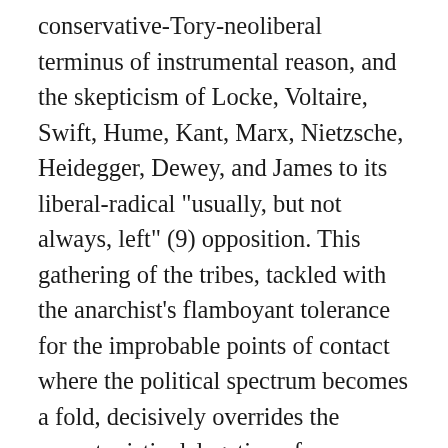conservative-Tory-neoliberal terminus of instrumental reason, and the skepticism of Locke, Voltaire, Swift, Hume, Kant, Marx, Nietzsche, Heidegger, Dewey, and James to its liberal-radical "usually, but not always, left" (9) opposition. This gathering of the tribes, tackled with the anarchist's flamboyant tolerance for the improbable points of contact where the political spectrum becomes a fold, decisively overrides the opportunistic delegation of poststructuralism to the right which might be said to cater a parlor game, even today, for those trapped in regressive negative identification with Nietzsche and Heidegger, as paroxysmal figures of Euro-Atlantic self-congratulation for the peerless evil of the